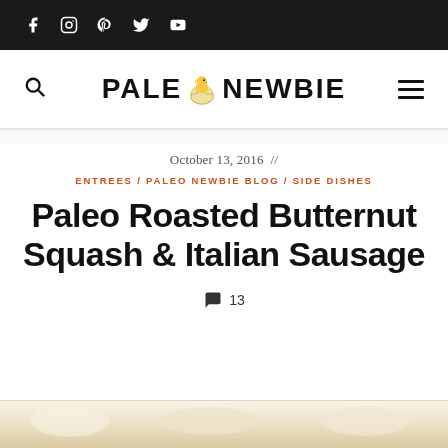Social media icons: Facebook, Instagram, Pinterest, Twitter, YouTube
[Figure (logo): Paleo Newbie logo with chick hatching from egg between PALEO and NEWBIE text, search icon on left, hamburger menu on right]
October 13, 2016 //
ENTREES / PALEO NEWBIE BLOG / SIDE DISHES
Paleo Roasted Butternut Squash & Italian Sausage
💬 13
[Figure (photo): Bottom portion of a food photo showing a plate with roasted butternut squash and Italian sausage dish]